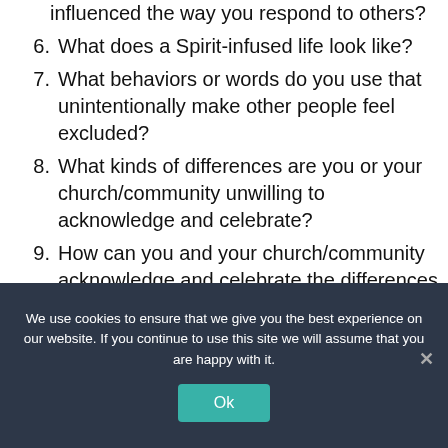(continuation) influenced the way you respond to others?
6. What does a Spirit-infused life look like?
7. What behaviors or words do you use that unintentionally make other people feel excluded?
8. What kinds of differences are you or your church/community unwilling to acknowledge and celebrate?
9. How can you and your church/community acknowledge and celebrate the differences you see in
We use cookies to ensure that we give you the best experience on our website. If you continue to use this site we will assume that you are happy with it.